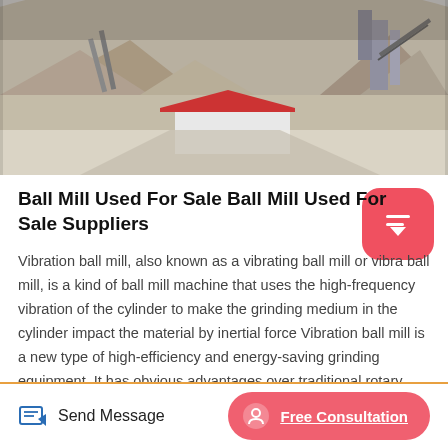[Figure (photo): Aerial view of a quarry or mining facility with gravel piles, conveyor equipment, a small white and red-roofed building, and industrial machinery in a snowy/dusty outdoor setting.]
Ball Mill Used For Sale Ball Mill Used For Sale Suppliers
Vibration ball mill, also known as a vibrating ball mill or vibra ball mill, is a kind of ball mill machine that uses the high-frequency vibration of the cylinder to make the grinding medium in the cylinder impact the material by inertial force Vibration ball mill is a new type of high-efficiency and energy-saving grinding equipment. It has obvious advantages over traditional rotary ball.
Willis Machinery offers either the ACU-RITE MillPWR G2 CNC
Send Message   Free Consultation